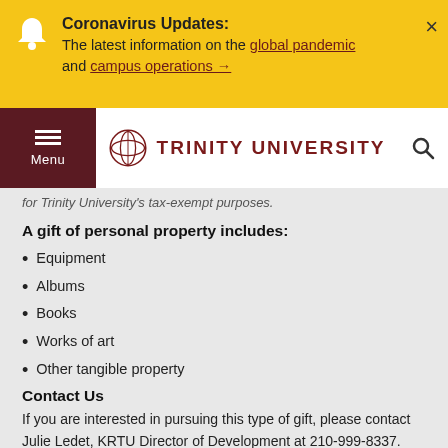[Figure (screenshot): Yellow alert banner with bell icon, Coronavirus Updates notice with links to global pandemic and campus operations, and a close button]
[Figure (screenshot): Trinity University navigation bar with dark red hamburger menu button labeled Menu, Trinity University logo and name in red, and search icon]
for Trinity University's tax-exempt purposes.
A gift of personal property includes:
Equipment
Albums
Books
Works of art
Other tangible property
Contact Us
If you are interested in pursuing this type of gift, please contact Julie Ledet, KRTU Director of Development at 210-999-8337.